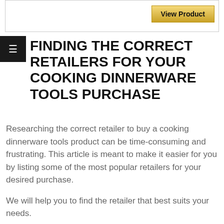[Figure (screenshot): View Product button with gold/yellow background inside a bordered box]
FINDING THE CORRECT RETAILERS FOR YOUR COOKING DINNERWARE TOOLS PURCHASE
Researching the correct retailer to buy a cooking dinnerware tools product can be time-consuming and frustrating. This article is meant to make it easier for you by listing some of the most popular retailers for your desired purchase.
We will help you to find the retailer that best suits your needs.
I'm sure you've all had that moment when you're in a store and see something that reminds you of the perfect gift for someone.